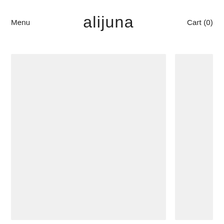Menu  alijuna  Cart (0)
[Figure (photo): Large light gray placeholder image card on the left]
[Figure (photo): Smaller light gray placeholder image card on the right, partially cropped]